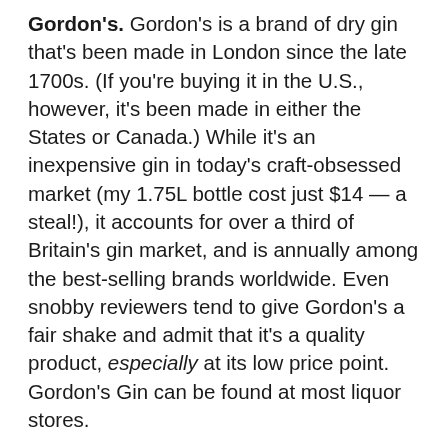Gordon's. Gordon's is a brand of dry gin that's been made in London since the late 1700s. (If you're buying it in the U.S., however, it's been made in either the States or Canada.) While it's an inexpensive gin in today's craft-obsessed market (my 1.75L bottle cost just $14 — a steal!), it accounts for over a third of Britain's gin market, and is annually among the best-selling brands worldwide. Even snobby reviewers tend to give Gordon's a fair shake and admit that it's a quality product, especially at its low price point. Gordon's Gin can be found at most liquor stores.
Vodka. Of the Vesper martini's three alcohols, this is the only one for which Bond doesn't specify a brand. He actually explains it in Casino Royale (the novel): "if you can get a vodka made with grain instead of potatoes, you will find it still better" — indicating that this version was